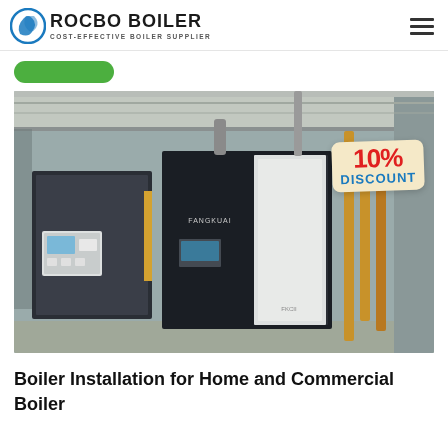ROCBO BOILER — COST-EFFECTIVE BOILER SUPPLIER
[Figure (other): Green rounded rectangle button placeholder]
[Figure (photo): Industrial boiler units in a factory/warehouse setting. Two large black and white rectangular boiler units are visible with yellow/gold piping and industrial infrastructure. A '10% DISCOUNT' badge is overlaid in the upper right of the image.]
Boiler Installation for Home and Commercial Boiler